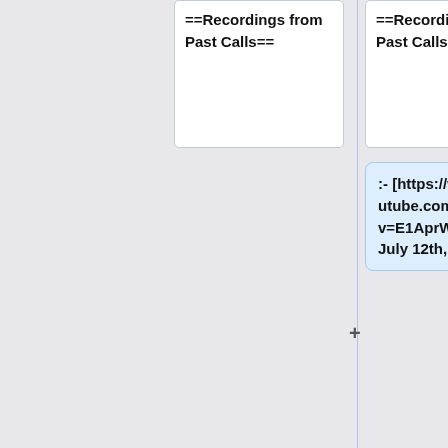==Recordings from Past Calls==
==Recordings from Past Calls==
:- [https://www.youtube.com/watch?v=E1AprWbS180 July 12th, 2022]
:- [https://www.youtube.com/watch?v=GiC2rRkJrzg June 28th, 2022]
No call recording on June 14th